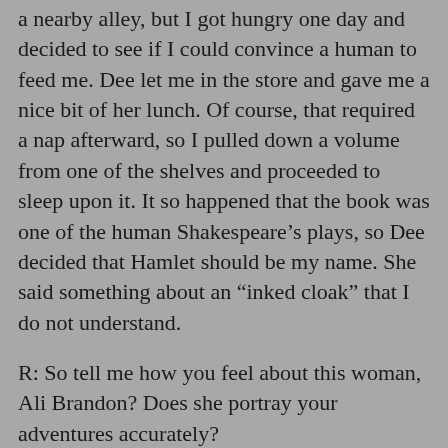a nearby alley, but I got hungry one day and decided to see if I could convince a human to feed me. Dee let me in the store and gave me a nice bit of her lunch. Of course, that required a nap afterward, so I pulled down a volume from one of the shelves and proceeded to sleep upon it. It so happened that the book was one of the human Shakespeare’s plays, so Dee decided that Hamlet should be my name. She said something about an “inked cloak” that I do not understand.
R: So tell me how you feel about this woman, Ali Brandon? Does she portray your adventures accurately?
H: Ali Brandon is quite clever for a human. I believe that she portrays me in a very positive manner. Purrrr.
R:If you could change one thing about Darla,  what